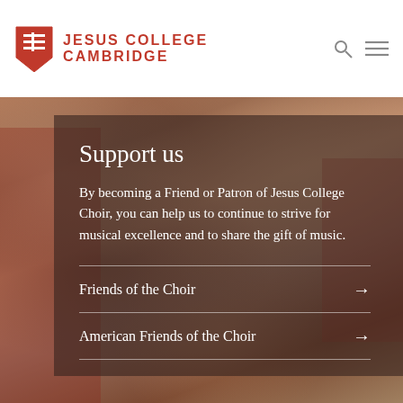Jesus College Cambridge
[Figure (photo): Group of young choir boys in red and white robes laughing and smiling together]
Support us
By becoming a Friend or Patron of Jesus College Choir, you can help us to continue to strive for musical excellence and to share the gift of music.
Friends of the Choir →
American Friends of the Choir →